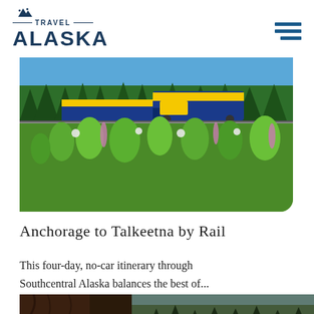[Figure (logo): Travel Alaska logo with mountain icon, horizontal lines, and bold ALASKA text in dark blue]
[Figure (other): Hamburger menu icon with three dark blue horizontal bars]
[Figure (photo): Alaska Railroad train in blue and gold colors traveling through a green meadow with wildflowers and spruce trees under a blue sky]
Anchorage to Talkeetna by Rail
This four-day, no-car itinerary through Southcentral Alaska balances the best of...
[Figure (photo): Partial photo showing what appears to be a brown bear and spruce trees, cropped at the bottom of the page]